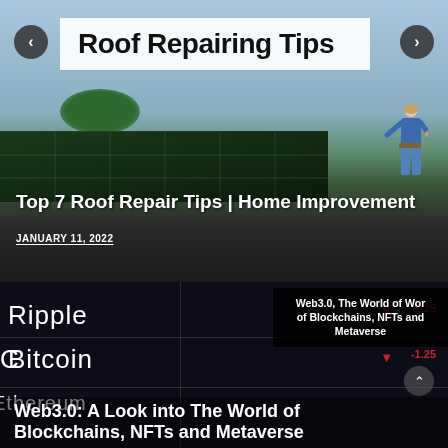[Figure (screenshot): Website slider showing 'Roof Repairing Tips' article with image of worker on solar panel roof, dated January 11, 2022]
Roof Repairing Tips
Top 7 Roof Repair Tips | Home Improvement
JANUARY 11, 2022
[Figure (screenshot): Cryptocurrency ticker board showing Ripple, Bitcoin, Ethereum with red declining arrows and numbers, with Web3.0 article overlay]
Web3.0, The World of Wor of Blockchains, NFTs and Metaverse
Web3.0: A Look into The World of Blockchains, NFTs and Metaverse